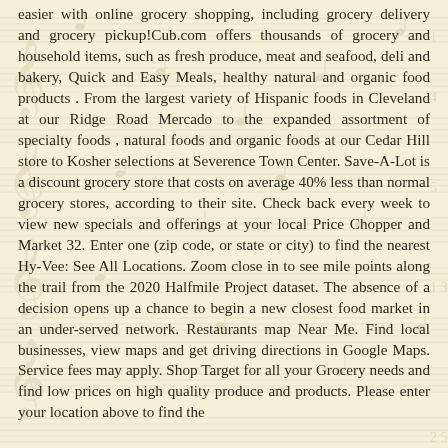easier with online grocery shopping, including grocery delivery and grocery pickup!Cub.com offers thousands of grocery and household items, such as fresh produce, meat and seafood, deli and bakery, Quick and Easy Meals, healthy natural and organic food products . From the largest variety of Hispanic foods in Cleveland at our Ridge Road Mercado to the expanded assortment of specialty foods , natural foods and organic foods at our Cedar Hill store to Kosher selections at Severence Town Center. Save-A-Lot is a discount grocery store that costs on average 40% less than normal grocery stores, according to their site. Check back every week to view new specials and offerings at your local Price Chopper and Market 32. Enter one (zip code, or state or city) to find the nearest Hy-Vee: See All Locations. Zoom close in to see mile points along the trail from the 2020 Halfmile Project dataset. The absence of a decision opens up a chance to begin a new closest food market in an under-served network. Restaurants map Near Me. Find local businesses, view maps and get driving directions in Google Maps. Service fees may apply. Shop Target for all your Grocery needs and find low prices on high quality produce and products. Please enter your location above to find the